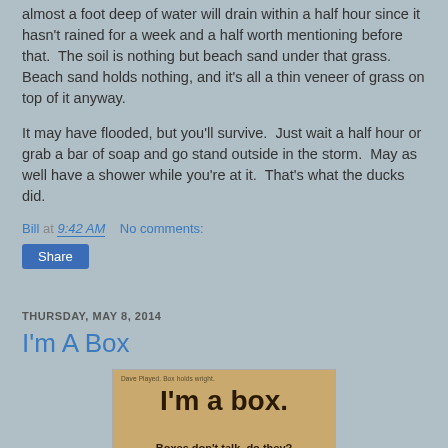almost a foot deep of water will drain within a half hour since it hasn't rained for a week and a half worth mentioning before that.  The soil is nothing but beach sand under that grass.  Beach sand holds nothing, and it's all a thin veneer of grass on top of it anyway.
It may have flooded, but you'll survive.  Just wait a half hour or grab a bar of soap and go stand outside in the storm.  May as well have a shower while you're at it.  That's what the ducks did.
Bill at 9:42 AM    No comments:
Share
THURSDAY, MAY 8, 2014
I'm A Box
[Figure (photo): Image of a brown card/paper with bold text reading 'I'm a box.' and subtitle 'Boxes don't talk, do they?' with smaller text at the bottom cut off.]